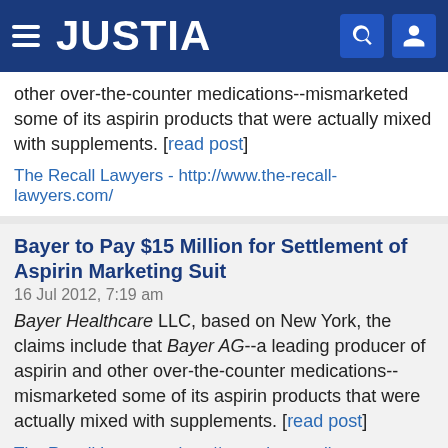JUSTIA
other over-the-counter medications--mismarketed some of its aspirin products that were actually mixed with supplements. [read post]
The Recall Lawyers - http://www.the-recall-lawyers.com/
Bayer to Pay $15 Million for Settlement of Aspirin Marketing Suit
16 Jul 2012, 7:19 am
Bayer Healthcare LLC, based on New York, the claims include that Bayer AG--a leading producer of aspirin and other over-the-counter medications--mismarketed some of its aspirin products that were actually mixed with supplements. [read post]
The Recall Lawyers - http://www.the-recall-lawyers.com/